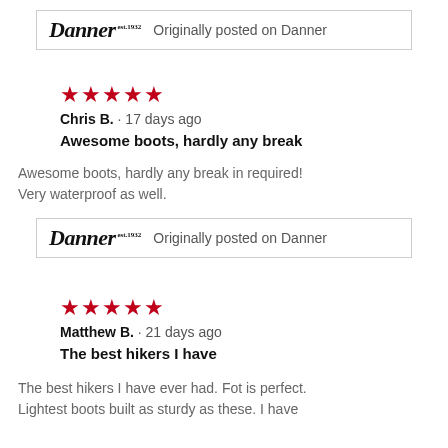[Figure (logo): Danner logo with text 'Originally posted on Danner' inside a bordered box]
★★★★★
Chris B. · 17 days ago
Awesome boots, hardly any break
Awesome boots, hardly any break in required! Very waterproof as well.
[Figure (logo): Danner logo with text 'Originally posted on Danner' inside a bordered box]
★★★★★
Matthew B. · 21 days ago
The best hikers I have
The best hikers I have ever had. Fot is perfect. Lightest boots built as sturdy as these. I have